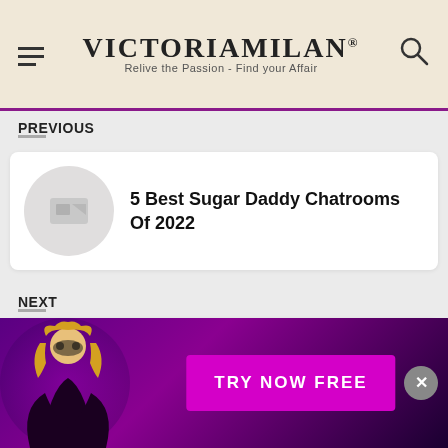VictoriaMilan® — Relive the Passion - Find your Affair
PREVIOUS
5 Best Sugar Daddy Chatrooms Of 2022
NEXT
10 Thing to Do In Menopause and
[Figure (other): TRY NOW FREE advertisement banner with woman in masquerade mask]